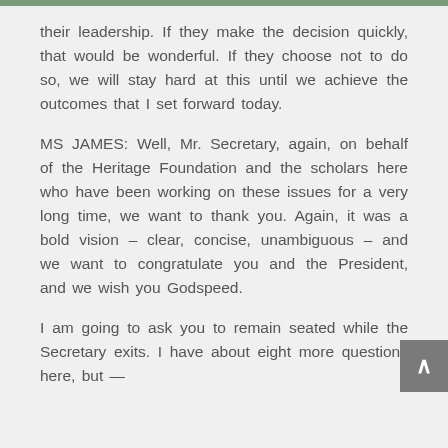their leadership. If they make the decision quickly, that would be wonderful. If they choose not to do so, we will stay hard at this until we achieve the outcomes that I set forward today.
MS JAMES: Well, Mr. Secretary, again, on behalf of the Heritage Foundation and the scholars here who have been working on these issues for a very long time, we want to thank you. Again, it was a bold vision – clear, concise, unambiguous – and we want to congratulate you and the President, and we wish you Godspeed.
I am going to ask you to remain seated while the Secretary exits. I have about eight more questions here, but —